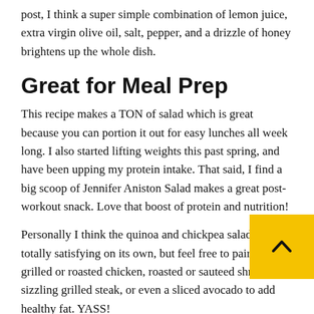post, I think a super simple combination of lemon juice, extra virgin olive oil, salt, pepper, and a drizzle of honey brightens up the whole dish.
Great for Meal Prep
This recipe makes a TON of salad which is great because you can portion it out for easy lunches all week long. I also started lifting weights this past spring, and have been upping my protein intake. That said, I find a big scoop of Jennifer Aniston Salad makes a great post-workout snack. Love that boost of protein and nutrition!
Personally I think the quinoa and chickpea salad is totally satisfying on its own, but feel free to pair with grilled or roasted chicken, roasted or sauteed shrimp, a sizzling grilled steak, or even a sliced avocado to add healthy fat. YASS!
Fresh, crunchy, and healthy to boot, I hope you'll give this gorgeous salad a try! Let's get to it.